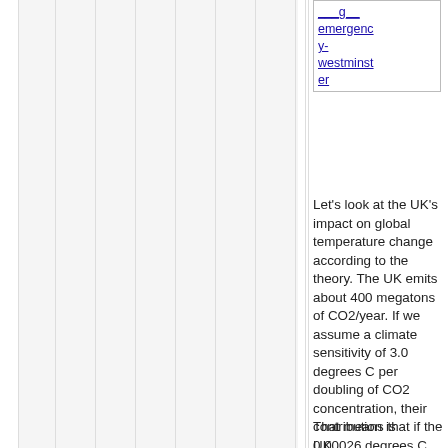emergency-westminster
Let's look at the UK's impact on global temperature change according to the theory. The UK emits about 400 megatons of CO2/year. If we assume a climate sensitivity of 3.0 degrees C per doubling of CO2 concentration, their contribution is 0.00026 degrees C per year.
That means that if the UK